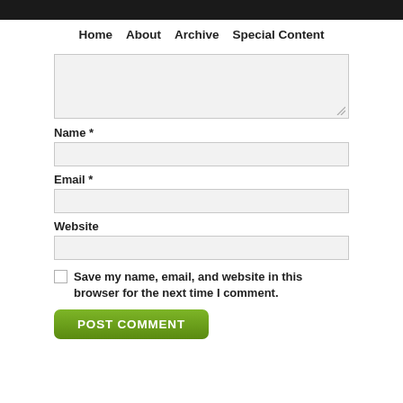Home   About   Archive   Special Content
[Figure (screenshot): Comment form textarea (empty, resizable)]
Name *
[Figure (screenshot): Name input field (empty)]
Email *
[Figure (screenshot): Email input field (empty)]
Website
[Figure (screenshot): Website input field (empty)]
Save my name, email, and website in this browser for the next time I comment.
[Figure (screenshot): POST COMMENT button, green rounded rectangle]